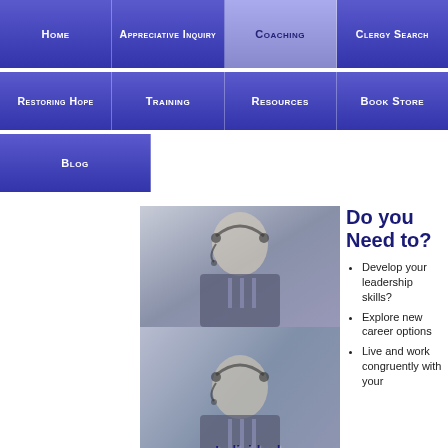Home | Appreciative Inquiry | Coaching | Clergy Search | Restoring Hope | Training | Resources | Book Store | Blog
[Figure (photo): Website screenshot with navigation bar showing Home, Appreciative Inquiry, Coaching (active), Clergy Search, Restoring Hope, Training, Resources, Book Store, Blog. Below nav: two photos of a man with a headset in business attire at a laptop. Text overlay reads: Individual Coaching and Consultation]
Do you Need to?
Develop your leadership skills?
Explore new career options
Live and work congruently with your